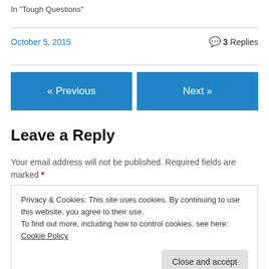In "Tough Questions"
October 5, 2015   3 Replies
« Previous
Next »
Leave a Reply
Your email address will not be published. Required fields are marked *
Privacy & Cookies: This site uses cookies. By continuing to use this website, you agree to their use.
To find out more, including how to control cookies, see here: Cookie Policy
Close and accept